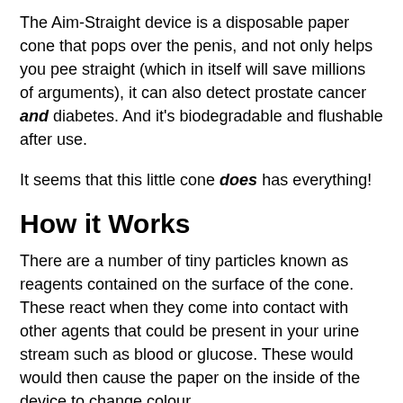The Aim-Straight device is a disposable paper cone that pops over the penis, and not only helps you pee straight (which in itself will save millions of arguments), it can also detect prostate cancer and diabetes. And it's biodegradable and flushable after use.
It seems that this little cone does has everything!
How it Works
There are a number of tiny particles known as reagents contained on the surface of the cone. These react when they come into contact with other agents that could be present in your urine stream such as blood or glucose. These would would then cause the paper on the inside of the device to change colour.
If the device does change colour during use, the wearer should contact their GP or local healthcare professional for further